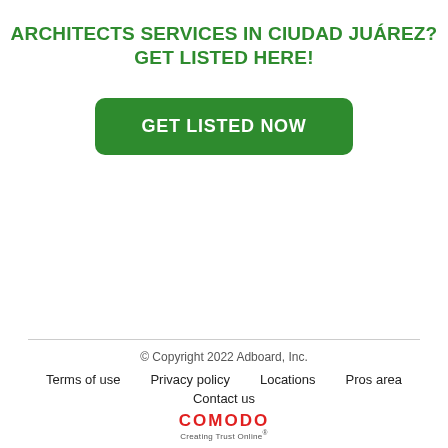ARCHITECTS SERVICES IN CIUDAD JUÁREZ? GET LISTED HERE!
[Figure (other): Green rounded rectangle button with white uppercase text: GET LISTED NOW]
© Copyright 2022 Adboard, Inc.
Terms of use   Privacy policy   Locations   Pros area
Contact us
COMODO Creating Trust Online®